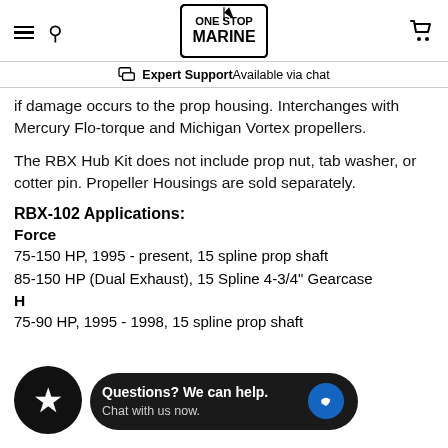One Stop Marine — navigation header with hamburger menu, search, logo, and cart
Expert Support Available via chat
if damage occurs to the prop housing. Interchanges with Mercury Flo-torque and Michigan Vortex propellers.
The RBX Hub Kit does not include prop nut, tab washer, or cotter pin. Propeller Housings are sold separately.
RBX-102 Applications:
Force
75-150 HP, 1995 - present, 15 spline prop shaft
85-150 HP (Dual Exhaust), 15 Spline 4-3/4" Gearcase
H
75-90 HP, 1995 - 1998, 15 spline prop shaft